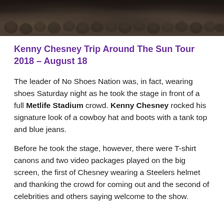[Figure (photo): A dark crowd photo banner at the top of the page showing a large group of people viewed from slightly above, in dark muted tones.]
Kenny Chesney Trip Around The Sun Tour 2018 – August 18
The leader of No Shoes Nation was, in fact, wearing shoes Saturday night as he took the stage in front of a full Metlife Stadium crowd. Kenny Chesney rocked his signature look of a cowboy hat and boots with a tank top and blue jeans.
Before he took the stage, however, there were T-shirt canons and two video packages played on the big screen, the first of Chesney wearing a Steelers helmet and thanking the crowd for coming out and the second of celebrities and others saying welcome to the show.